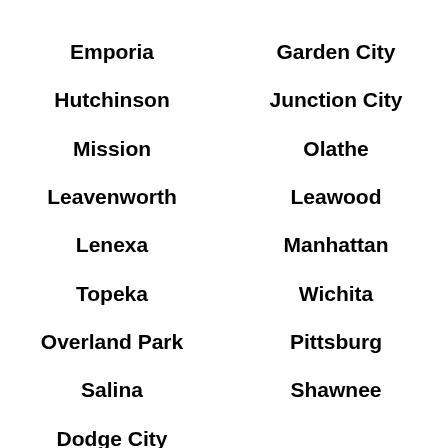Emporia
Garden City
Hutchinson
Junction City
Mission
Olathe
Leavenworth
Leawood
Lenexa
Manhattan
Topeka
Wichita
Overland Park
Pittsburg
Salina
Shawnee
Dodge City